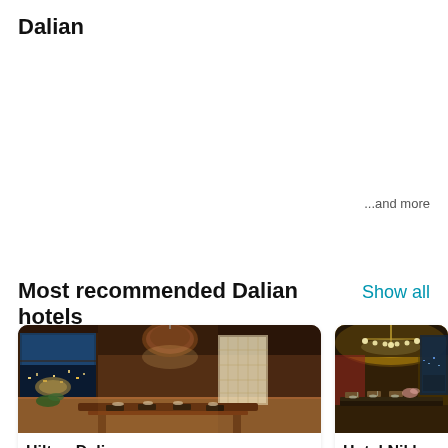Dalian
...and more
Most recommended Dalian hotels
Show all
[Figure (photo): Hotel dining room with large pendant lamp, wooden table set for dinner, floor-to-ceiling windows overlooking city at night]
Hilton Dalia...
[Figure (photo): Elegant hotel dining room with crystal chandelier, round ceiling, table set for dinner with glassware]
Hotel Nikk...